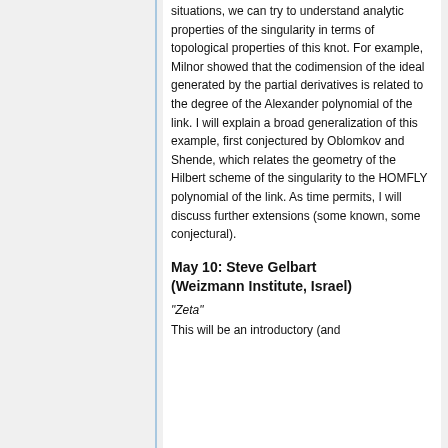situations, we can try to understand analytic properties of the singularity in terms of topological properties of this knot. For example, Milnor showed that the codimension of the ideal generated by the partial derivatives is related to the degree of the Alexander polynomial of the link. I will explain a broad generalization of this example, first conjectured by Oblomkov and Shende, which relates the geometry of the Hilbert scheme of the singularity to the HOMFLY polynomial of the link. As time permits, I will discuss further extensions (some known, some conjectural).
May 10: Steve Gelbart (Weizmann Institute, Israel)
"Zeta"
This will be an introductory (and